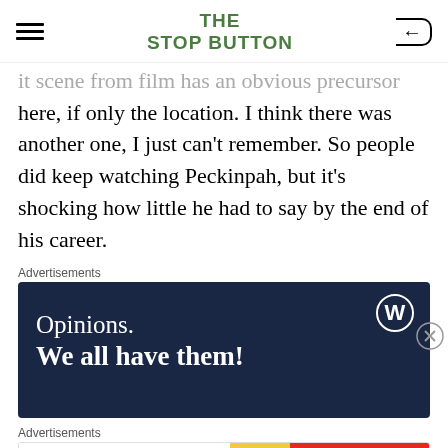THE STOP BUTTON
it scene from film has an obvious precursor here, if only the location. I think there was another one, I just can't remember. So people did keep watching Peckinpah, but it's shocking how little he had to say by the end of his career.
Advertisements
[Figure (other): WordPress advertisement with dark blue background, WordPress logo (W in circle), and text 'Opinions. We all have them!']
Advertisements
[Figure (other): Chewy.com advertisement: 'Treat your cat the best with Delectables cat treats' on white background with cat image, and 'Shop now at chewy' on red background]